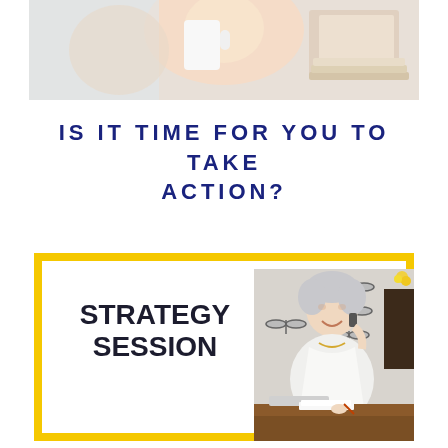[Figure (photo): Partial photo at top of page showing a person at a desk with items, cropped to show only the lower portion]
IS IT TIME FOR YOU TO TAKE ACTION?
[Figure (infographic): Yellow-bordered box with text 'STRATEGY SESSION' on the left and a photo of a smiling woman with short grey hair talking on the phone, seated at a desk, on the right. Dragonfly decorations visible behind her.]